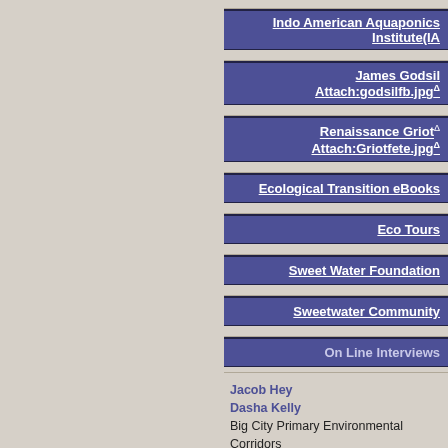Indo American Aquaponics Institute(IA
James Godsil
Attach:godsilfb.jpg Δ
Renaissance Griot
Attach:Griotfete.jpg Δ
Ecological Transition eBooks
Eco Tours
Sweet Water Foundation
Sweetwater Community
On Line Interviews
Jacob Hey
Dasha Kelly
Big City Primary Environmental Corridors
An Interview w. Sura Faraj
Tim HuthFounder of Living Off the Fat of the Land, Organic Farm Now Serving Bea and Barley's Produce Needs
Erik LindborgCommunity Building and